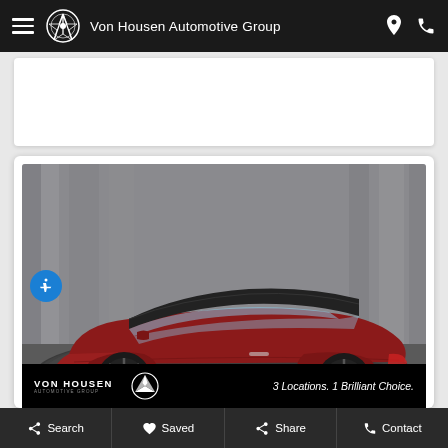Von Housen Automotive Group
[Figure (photo): Red Mercedes-Benz C-Class convertible on a turntable display platform with curtain background. Von Housen Automotive Group banner at bottom reading: VON HOUSEN AUTOMOTIVE GROUP | 3 Locations. 1 Brilliant Choice.]
Search | Saved | Share | Contact